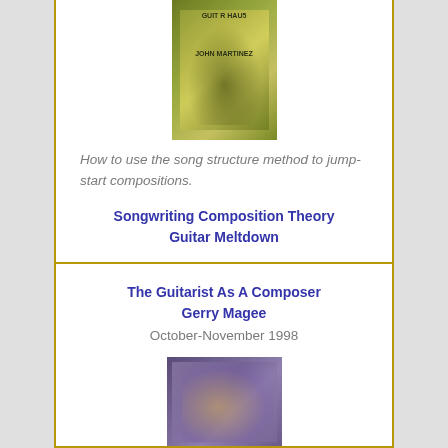[Figure (photo): Book cover for a guitar/music composition book with greenish-yellow tones]
How to use the song structure method to jump-start compositions.
Songwriting Composition Theory
Guitar Meltdown
The Guitarist As A Composer
Gerry Magee
October-November 1998
[Figure (photo): Photo of a guitarist playing, with purple and green tones]